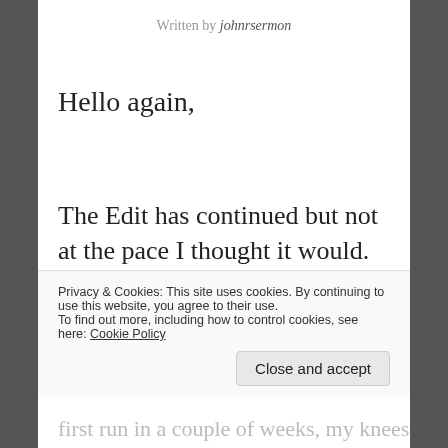Written by johnrsermon
Hello again,
The Edit has continued but not at the pace I thought it would. You see, as I always do in these situations, I forget to factor in the
Privacy & Cookies: This site uses cookies. By continuing to use this website, you agree to their use.
To find out more, including how to control cookies, see here: Cookie Policy
Close and accept
first run in a couple of weeks, my knees